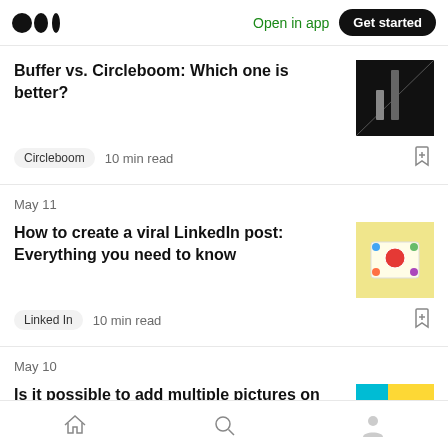Medium · Open in app · Get started
Buffer vs. Circleboom: Which one is better?
Circleboom · 10 min read
May 11
How to create a viral LinkedIn post: Everything you need to know
Linked In · 10 min read
May 10
Is it possible to add multiple pictures on Pinterest? Yes!
Home · Search · Profile